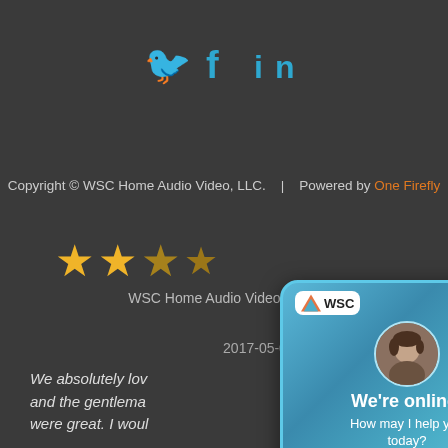[Figure (other): Social media icons: Twitter bird, Facebook f, LinkedIn in — in teal/blue color on dark background]
Copyright © WSC Home Audio Video, LLC.    |    Powered by One Firefly
[Figure (other): Two gold star rating icons followed by partial stars]
WSC Home Audio Video is rated [rating] around [area]
2017-05-0[...]
We absolutely lov[e] and the gentlema[n] were great. I woul[d]
[Figure (screenshot): Live chat popup widget with WSC logo, agent avatar photo, 'We're online!' heading, 'How may I help you today?' message, and 'Chat now' button on a blue swirled background]